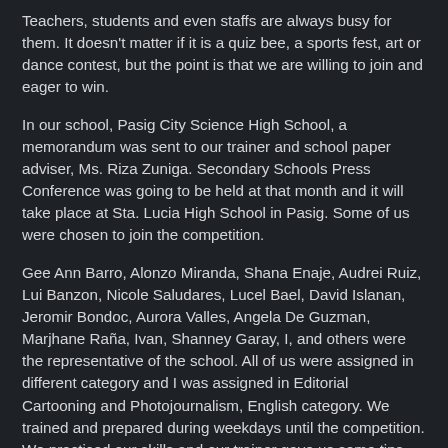Teachers, students and even staffs are always busy for them. It doesn't matter if it is a quiz bee, a sports fest, art or dance contest, but the point is that we are willing to join and eager to win.
In our school, Pasig City Science High School, a memorandum was sent to our trainer and school paper adviser, Ms. Riza Zuniga. Secondary Schools Press Conference was going to be held at that month and it will take place at Sta. Lucia High School in Pasig. Some of us were chosen to join the competition.
Gee Ann Barro, Alonzo Miranda, Shana Enaje, Audrei Ruiz, Lui Banzon, Nicole Saludares, Lucel Bael, David Islanan, Jeromir Bondoc, Aurora Valles, Angela De Guzman, Marjhane Raña, Ivan, Shanney Garay, I, and others were the representative of the school. All of us were assigned in different category and I was assigned in Editorial Cartooning and Photojournalism, English category. We trained and prepared during weekdays until the competition. We practiced our skills and our trainer gave us some tips. We prayed and hope that we will win.